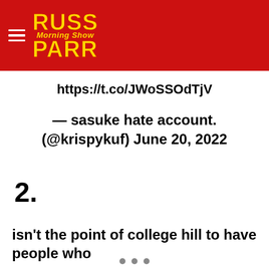Russ Parr Morning Show
https://t.co/JWoSSOdTjV
— sasuke hate account. (@krispykuf) June 20, 2022
2.
isn't the point of college hill to have people who